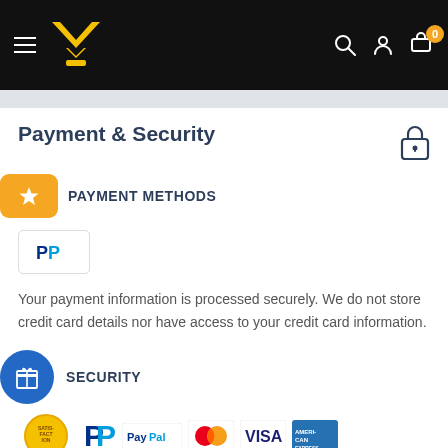[Figure (screenshot): E-commerce website header with black background, hamburger menu, yellow crown/checkmark logo, search icon, user icon, and cart icon with '0' badge]
Payment & Security
PAYMENT METHODS
[Figure (logo): PayPal logo in a white bordered box]
Your payment information is processed securely. We do not store credit card details nor have access to your credit card information.
SECURITY
[Figure (illustration): Row of payment/security logos: satisfaction seal, PayPal, PayPal, Mastercard, Visa, American Express]